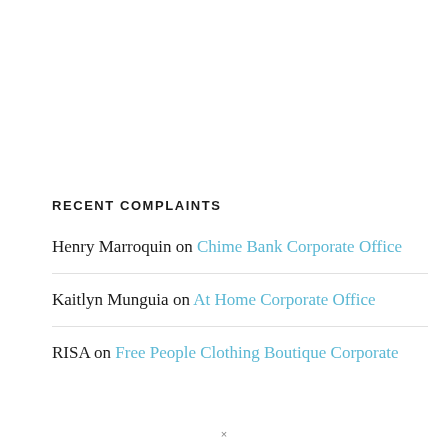RECENT COMPLAINTS
Henry Marroquin on Chime Bank Corporate Office
Kaitlyn Munguia on At Home Corporate Office
RISA on Free People Clothing Boutique Corporate
×